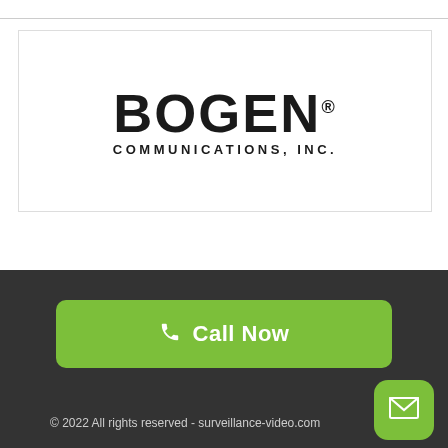[Figure (logo): Bogen Communications, Inc. logo — large bold BOGEN® text above COMMUNICATIONS, INC. in spaced capital letters]
[Figure (other): Green rounded button with phone icon and text 'Call Now']
© 2022 All rights reserved - surveillance-video.com